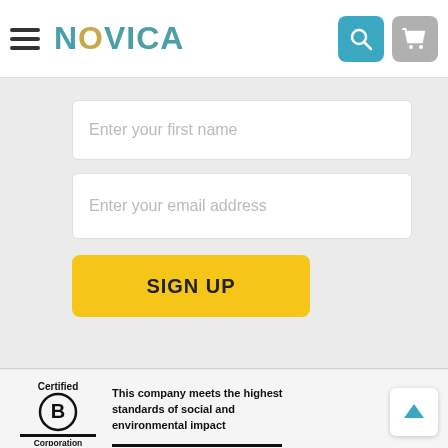NOVICA navigation bar with hamburger menu, logo, search and cart icons
Enter your first name
Enter your email address
SIGN UP
[Figure (logo): Certified B Corporation logo with circle B mark and text: This company meets the highest standards of social and environmental impact]
This company meets the highest standards of social and environmental impact